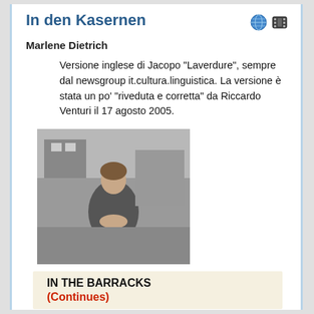In den Kasernen
Marlene Dietrich
Versione inglese di Jacopo "Laverdure", sempre dal newsgroup it.cultura.linguistica. La versione è stata un po' "riveduta e corretta" da Riccardo Venturi il 17 agosto 2005.
[Figure (photo): Black and white photograph of Marlene Dietrich sitting outdoors in casual clothing]
IN THE BARRACKS
(Continues)
Contributed by Riccardo Venturi 2005/8/16 - 21:47